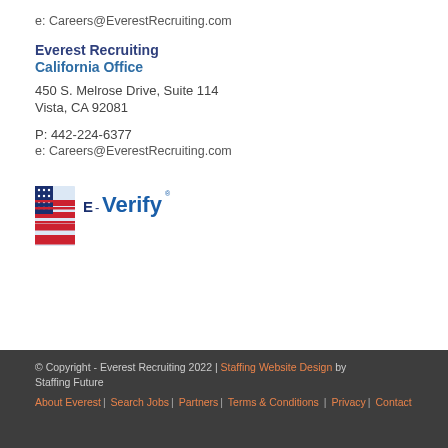e: Careers@EverestRecruiting.com
Everest Recruiting
California Office
450 S. Melrose Drive, Suite 114
Vista, CA 92081
P: 442-224-6377
e: Careers@EverestRecruiting.com
[Figure (logo): E-Verify logo with American flag icon and blue text reading E-Verify]
© Copyright - Everest Recruiting 2022 | Staffing Website Design by Staffing Future
About Everest | Search Jobs | Partners | Terms & Conditions | Privacy | Contact